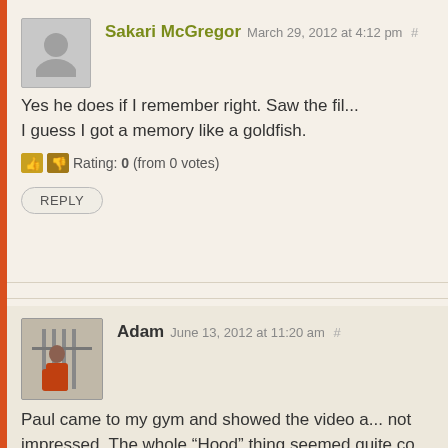Sakari McGregor March 29, 2012 at 4:12 pm #
Yes he does if I remember right. Saw the fil... I guess I got a memory like a goldfish.
Rating: 0 (from 0 votes)
REPLY
Adam June 13, 2012 at 11:20 am #
Paul came to my gym and showed the video a... not impressed. The whole “Hood” thing seemed quite co... bloopers in the end seemed to show that some of the cl... dumb as well. For most of the climbs you hear nothing a... area’s the are climbing in. When I watch full-feature type...